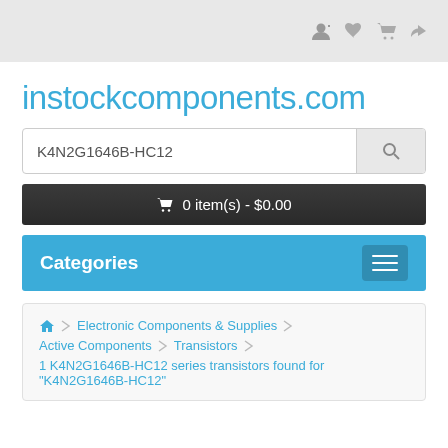instockcomponents.com header with user icons
instockcomponents.com
K4N2G1646B-HC12 [search input]
0 item(s) - $0.00
Categories
Home > Electronic Components & Supplies > Active Components > Transistors
1 K4N2G1646B-HC12 series transistors found for "K4N2G1646B-HC12"